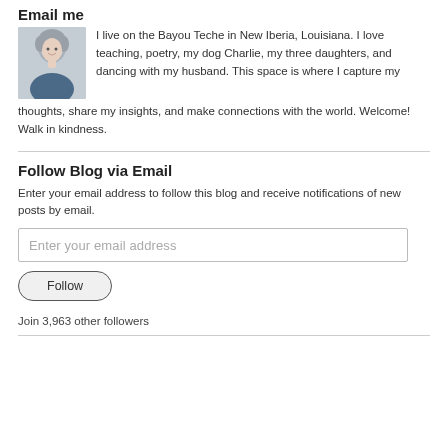Email me
I live on the Bayou Teche in New Iberia, Louisiana. I love teaching, poetry, my dog Charlie, my three daughters, and dancing with my husband. This space is where I capture my thoughts, share my insights, and make connections with the world. Welcome! Walk in kindness.
Follow Blog via Email
Enter your email address to follow this blog and receive notifications of new posts by email.
Enter your email address
Follow
Join 3,963 other followers